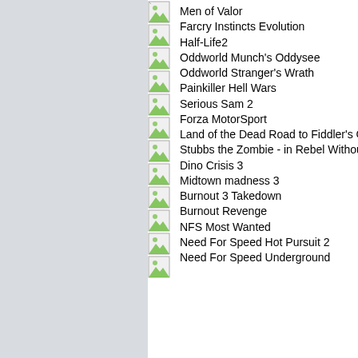Men of Valor
Farcry Instincts Evolution
Half-Life2
Oddworld Munch's Oddysee
Oddworld Stranger's Wrath
Painkiller Hell Wars
Serious Sam 2
Forza MotorSport
Land of the Dead Road to Fiddler's Green
Stubbs the Zombie - in Rebel Without a Puls
Dino Crisis 3
Midtown madness 3
Burnout 3 Takedown
Burnout Revenge
NFS Most Wanted
Need For Speed Hot Pursuit 2
Need For Speed Underground